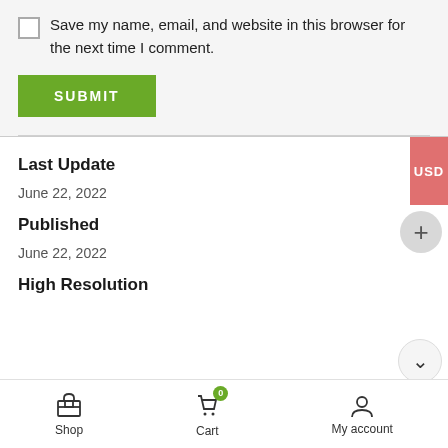Save my name, email, and website in this browser for the next time I comment.
SUBMIT
Last Update
June 22, 2022
Published
June 22, 2022
High Resolution
Shop  Cart  My account